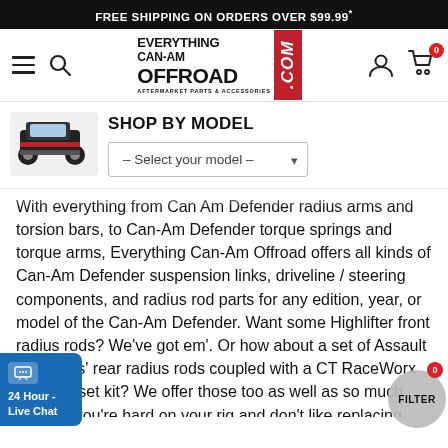FREE SHIPPING ON ORDERS OVER $99.99*
[Figure (logo): Everything Can-Am Offroad .com logo with red vertical box]
SHOP BY MODEL
[Figure (photo): Can-Am side-by-side UTV vehicle image]
With everything from Can Am Defender radius arms and torsion bars, to Can-Am Defender torque springs and torque arms, Everything Can-Am Offroad offers all kinds of Can-Am Defender suspension links, driveline / steering components, and radius rod parts for any edition, year, or model of the Can-Am Defender. Want some Highlifter front radius rods? We've got em'. Or how about a set of Assault Industries' rear radius rods coupled with a CT RaceWorx front gusset kit? We offer those too as well as so much more. If you're hard on your rig and don't like replacing parts all the time, the beefed-up, performance-grade Can-Am Defender radius rods from Everything Can-Am Offroad